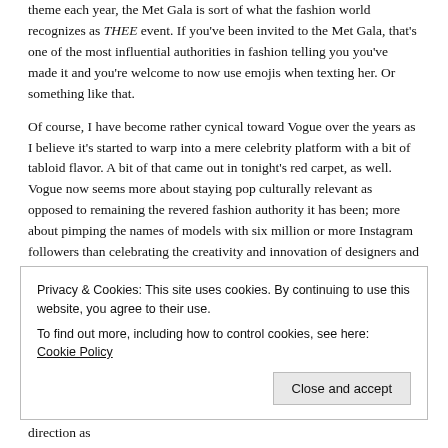theme each year, the Met Gala is sort of what the fashion world recognizes as THEE event.  If you've been invited to the Met Gala, that's one of the most influential authorities in fashion telling you you've made it and you're welcome to now use emojis when texting her.  Or something like that.
Of course, I have become rather cynical toward Vogue over the years as I believe it's started to warp into a mere celebrity platform with a bit of tabloid flavor.  A bit of that came out in tonight's red carpet, as well.  Vogue now seems more about staying pop culturally relevant as opposed to remaining the revered fashion authority it has been; more about pimping the names of models with six million or more Instagram followers than celebrating the creativity and innovation of designers and artists around the world.  First came the Kim and Kanye cover of April 2014, then the single special edition devoted entirely to Kendall Jenner, and most recently, a perfectly timed May 2016 Taylor Swift cover that has gone hand in hand with her new “edgy” makeover.  It’s all just in time for the Gala as Swift co-chaired this year, yet I
Privacy & Cookies: This site uses cookies. By continuing to use this website, you agree to their use.
To find out more, including how to control cookies, see here: Cookie Policy
Close and accept
feelings toward the Met Gala overall sort of turning in the same direction as